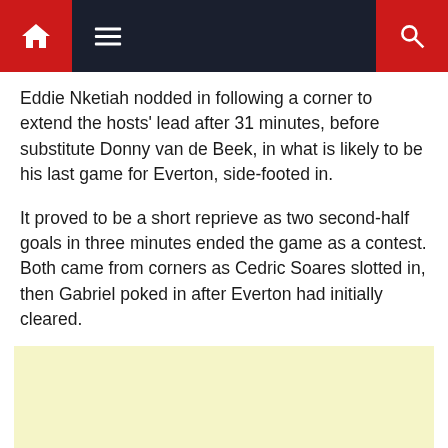Navigation bar with home, menu, and search icons
Eddie Nketiah nodded in following a corner to extend the hosts' lead after 31 minutes, before substitute Donny van de Beek, in what is likely to be his last game for Everton, side-footed in.
It proved to be a short reprieve as two second-half goals in three minutes ended the game as a contest. Both came from corners as Cedric Soares slotted in, then Gabriel poked in after Everton had initially cleared.
[Figure (other): Light yellow advertisement block placeholder]